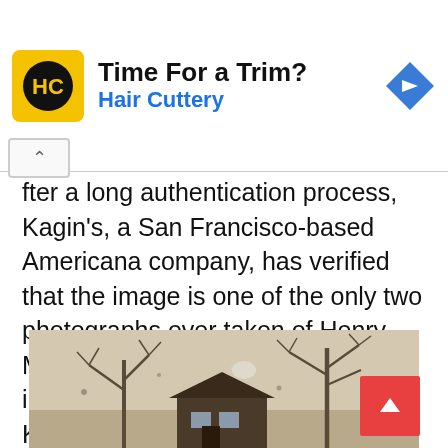[Figure (advertisement): Hair Cuttery advertisement banner with yellow logo showing 'HC', title 'Time For a Trim?', subtitle 'Hair Cuttery', and a blue diamond direction arrow icon on the right.]
After a long authentication process, Kagin's, a San Francisco-based Americana company, has verified that the image is one of the only two photographs ever taken of Henry McCarty, better known as the infamous Western outlaw Billy the Kid. The best part? The photograph actually depicts him playing croquet.
[Figure (photo): Black and white historical photograph showing a small wooden house/cabin with bare winter trees in the background. Appears aged with spots and marks on the image surface.]